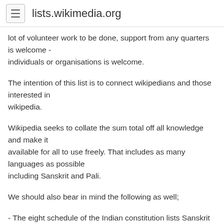lists.wikimedia.org
lot of volunteer work to be done, support from any quarters is welcome -
individuals or organisations is welcome.
The intention of this list is to connect wikipedians and those interested in
wikipedia.
Wikipedia seeks to collate the sum total off all knowledge and make it
available for all to use freely. That includes as many languages as possible
including Sanskrit and Pali.
We should also bear in mind the following as well;
- The eight schedule of the Indian constitution lists Sanskrit as one of the
22 languages [1]
- Sanskrit is also the official language of one of the states of